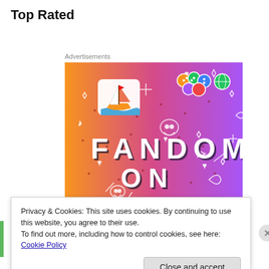Top Rated
Advertisements
[Figure (illustration): Tumblr advertisement banner showing colorful gradient background (orange to purple) with 'FANDOM ON tumblr' text and various illustrated doodles including a sailboat, skull, dice, octopus, and plant characters.]
Privacy & Cookies: This site uses cookies. By continuing to use this website, you agree to their use.
To find out more, including how to control cookies, see here: Cookie Policy
Close and accept